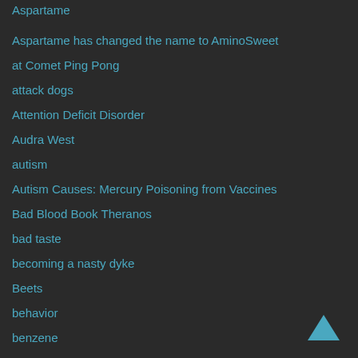Aspartame
Aspartame has changed the name to AminoSweet
at Comet Ping Pong
attack dogs
Attention Deficit Disorder
Audra West
autism
Autism Causes: Mercury Poisoning from Vaccines
Bad Blood Book Theranos
bad taste
becoming a nasty dyke
Beets
behavior
benzene
best juicers